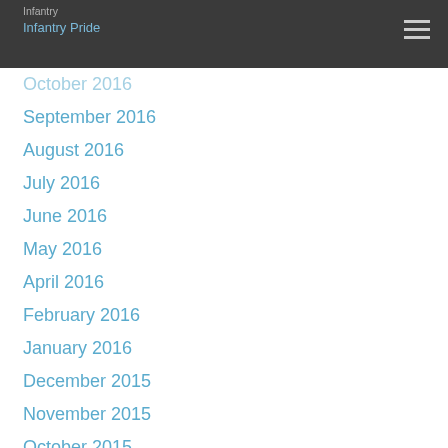Infantry
Infantry Pride
October 2016
September 2016
August 2016
July 2016
June 2016
May 2016
April 2016
February 2016
January 2016
December 2015
November 2015
October 2015
September 2015
August 2015
July 2015
June 2015
May 2015